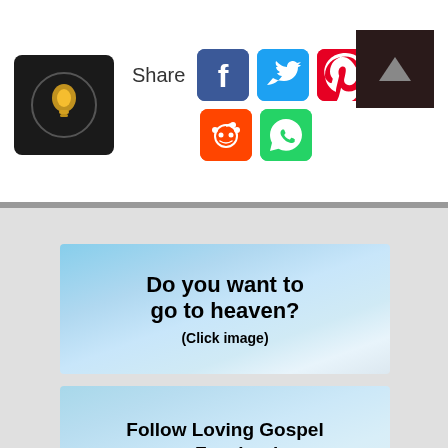[Figure (logo): Dark circular logo with lightbulb icon on dark background]
[Figure (infographic): Share buttons row: Facebook (blue), Twitter (blue), Pinterest (red), Tumblr (dark blue), Reddit (orange), WhatsApp (green)]
[Figure (screenshot): Dark scroll-to-top button with triangle arrow]
[Figure (illustration): Banner image with blue sky and clouds background. Text: 'Do you want to go to heaven? (Click image)']
[Figure (illustration): Banner image with blue sky and clouds background. Text: 'Follow Loving Gospel on Facebook (Click Image)']